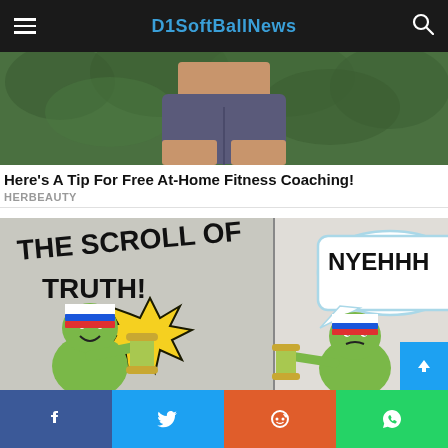D1SoftballNews
[Figure (photo): Person wearing grey athletic shorts standing in front of green leafy hedge background, cropped to show shorts/waist area]
Here's A Tip For Free At-Home Fitness Coaching!
HERBEAUTY
[Figure (illustration): Two-panel meme comic: Left panel shows a cartoon character (green blob with Russian flag hat) holding a scroll labeled 'THE SCROLL OF TRUTH!' with a starburst effect. Right panel shows another character saying 'NYEHHH' in a speech bubble, also wearing Russian flag hat, looking angry.]
Facebook Twitter Reddit WhatsApp social share buttons